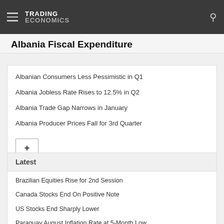TRADING ECONOMICS
Albania Fiscal Expenditure
Albanian Consumers Less Pessimistic in Q1
Albania Jobless Rate Rises to 12.5% in Q2
Albania Trade Gap Narrows in January
Albania Producer Prices Fall for 3rd Quarter
Latest
Brazilian Equities Rise for 2nd Session
Canada Stocks End On Positive Note
US Stocks End Sharply Lower
Paraguay August Inflation Rate at 5-Month Low